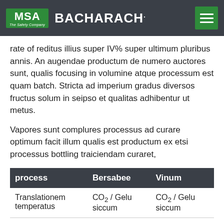MSA The Safety Company | BACHARACH.
rate of reditus illius super IV% super ultimum pluribus annis. An augendae productum de numero auctores sunt, qualis focusing in volumine atque processum est quam batch. Stricta ad imperium gradus diversos fructus solum in seipso et qualitas adhibentur ut metus.
Vapores sunt complures processus ad curare optimum facit illum qualis est productum ex etsi processus bottling traiciendam curaret,
| process | Bersabee | Vinum |
| --- | --- | --- |
| Translationem temperatus | CO₂ / Gelu siccum | CO₂ / Gelu siccum |